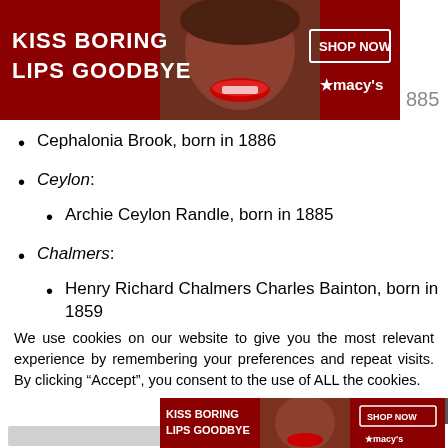[Figure (advertisement): Macy's lipstick advertisement banner: 'KISS BORING LIPS GOODBYE' with 'SHOP NOW' button and Macy's star logo, dark red background with woman's face]
Cephalonia Brook, born in 1886
Ceylon:
Archie Ceylon Randle, born in 1885
Chalmers:
Henry Richard Chalmers Charles Bainton, born in 1859
We use cookies on our website to give you the most relevant experience by remembering your preferences and repeat visits. By clicking “Accept”, you consent to the use of ALL the cookies.
Do not sell my personal information.
[Figure (advertisement): Macy's lipstick advertisement banner at bottom: 'KISS BORING LIPS GOODBYE' with 'SHOP NOW' button and Macy's star logo]